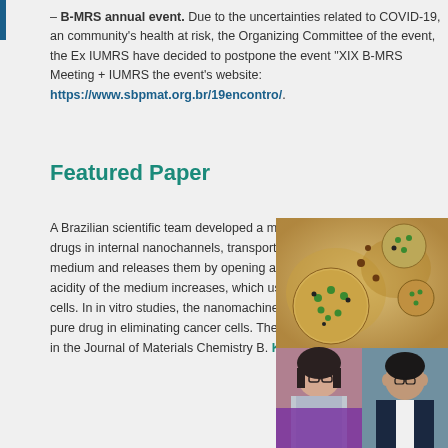– B-MRS annual event. Due to the uncertainties related to COVID-19, and community's health at risk, the Organizing Committee of the event, the Ex IUMRS have decided to postpone the event "XIX B-MRS Meeting + IUMRS the event's website: https://www.sbpmat.org.br/19encontro/.
Featured Paper
A Brazilian scientific team developed a molecular machine that stores drugs in internal nanochannels, transports them in a physiological medium and releases them by opening a nanocap only when the acidity of the medium increases, which usually occurs around cancer cells. In in vitro studies, the nanomachine was more effective than the pure drug in eliminating cancer cells. The work was recently reported in the Journal of Materials Chemistry B. Know more.
[Figure (photo): Top half shows an illustration of nanoparticles (molecular machines) with green and brown dots on a golden/tan background. Bottom half shows two researchers: a woman with curly hair and glasses wearing a purple/grey scarf, and a man with glasses in a dark suit.]